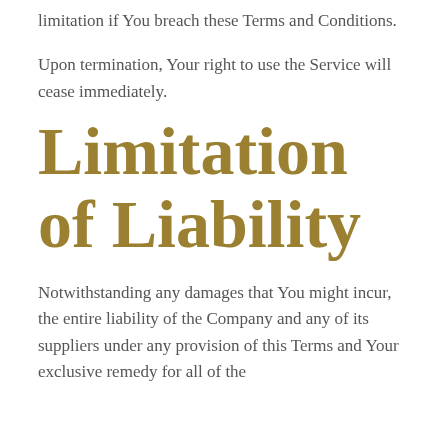limitation if You breach these Terms and Conditions.
Upon termination, Your right to use the Service will cease immediately.
Limitation of Liability
Notwithstanding any damages that You might incur, the entire liability of the Company and any of its suppliers under any provision of this Terms and Your exclusive remedy for all of the